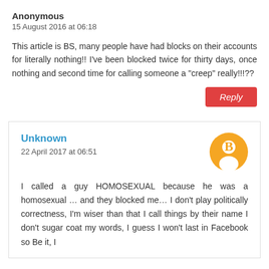Anonymous
15 August 2016 at 06:18
This article is BS, many people have had blocks on their accounts for literally nothing!! I've been blocked twice for thirty days, once nothing and second time for calling someone a "creep" really!!!??
Reply
Unknown
22 April 2017 at 06:51
I called a guy HOMOSEXUAL because he was a homosexual … and they blocked me… I don't play politically correctness, I'm wiser than that I call things by their name I don't sugar coat my words, I guess I won't last in Facebook so Be it, I